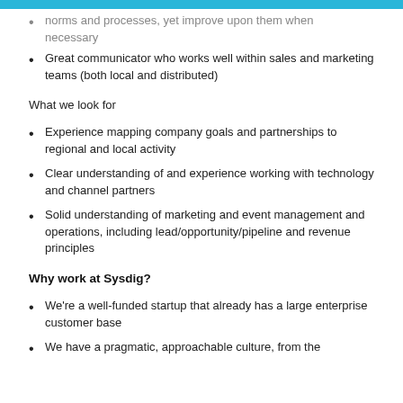norms and processes, yet improve upon them when necessary
Great communicator who works well within sales and marketing teams (both local and distributed)
What we look for
Experience mapping company goals and partnerships to regional and local activity
Clear understanding of and experience working with technology and channel partners
Solid understanding of marketing and event management and operations, including lead/opportunity/pipeline and revenue principles
Why work at Sysdig?
We're a well-funded startup that already has a large enterprise customer base
We have a pragmatic, approachable culture, from the